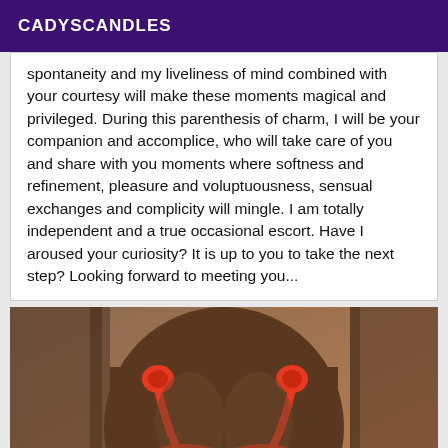CADYSCANDLES
spontaneity and my liveliness of mind combined with your courtesy will make these moments magical and privileged. During this parenthesis of charm, I will be your companion and accomplice, who will take care of you and share with you moments where softness and refinement, pleasure and voluptuousness, sensual exchanges and complicity will mingle. I am totally independent and a true occasional escort. Have I aroused your curiosity? It is up to you to take the next step? Looking forward to meeting you...
[Figure (photo): Person wearing red/coral bikini top, close-up torso shot with warm brown/orange tones in the background]